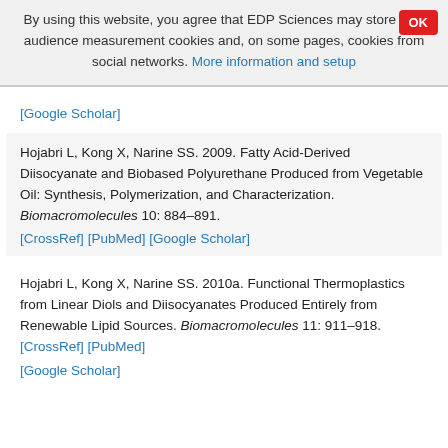By using this website, you agree that EDP Sciences may store web audience measurement cookies and, on some pages, cookies from social networks. More information and setup
[Google Scholar]
Hojabri L, Kong X, Narine SS. 2009. Fatty Acid-Derived Diisocyanate and Biobased Polyurethane Produced from Vegetable Oil: Synthesis, Polymerization, and Characterization. Biomacromolecules 10: 884–891. [CrossRef] [PubMed] [Google Scholar]
Hojabri L, Kong X, Narine SS. 2010a. Functional Thermoplastics from Linear Diols and Diisocyanates Produced Entirely from Renewable Lipid Sources. Biomacromolecules 11: 911–918. [CrossRef] [PubMed] [Google Scholar]